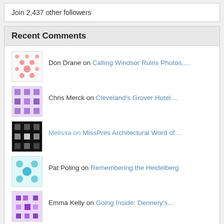Join 2,437 other followers
Recent Comments
Don Drane on Calling Windsor Ruins Photos,...
Chris Merck on Cleveland's Grover Hotel…
Melissa on MissPres Architectural Word of…
Pat Poling on Remembering the Heidelberg
Emma Kelly on Going Inside: Dennery's…
Leslie Smith on Hattiesburg Craftsman: Corley…
'Bringing Light to t… on Lost Mississippi: Concord, Nat…
Busguy on Travelling by Trolley in Missi…
Leah Harris on Abandoned Mississippi: Mt. Hol…
Alice L Lambert on Before and After: Meridian…